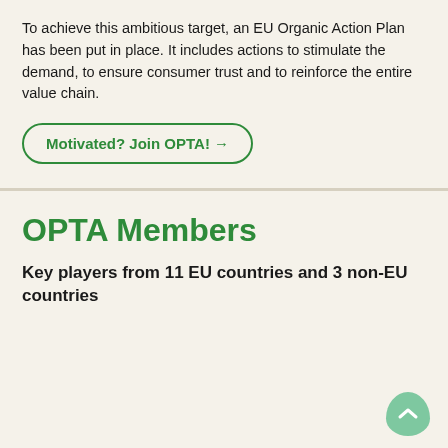To achieve this ambitious target, an EU Organic Action Plan has been put in place. It includes actions to stimulate the demand, to ensure consumer trust and to reinforce the entire value chain.
Motivated? Join OPTA! →
OPTA Members
Key players from 11 EU countries and 3 non-EU countries